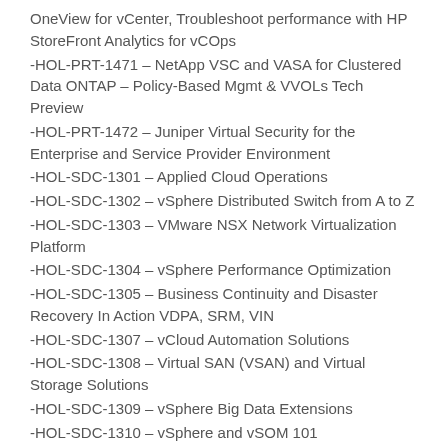OneView for vCenter, Troubleshoot performance with HP StoreFront Analytics for vCOps
-HOL-PRT-1471 – NetApp VSC and VASA for Clustered Data ONTAP – Policy-Based Mgmt & VVOLs Tech Preview
-HOL-PRT-1472 – Juniper Virtual Security for the Enterprise and Service Provider Environment
-HOL-SDC-1301 – Applied Cloud Operations
-HOL-SDC-1302 – vSphere Distributed Switch from A to Z
-HOL-SDC-1303 – VMware NSX Network Virtualization Platform
-HOL-SDC-1304 – vSphere Performance Optimization
-HOL-SDC-1305 – Business Continuity and Disaster Recovery In Action VDPA, SRM, VIN
-HOL-SDC-1307 – vCloud Automation Solutions
-HOL-SDC-1308 – Virtual SAN (VSAN) and Virtual Storage Solutions
-HOL-SDC-1309 – vSphere Big Data Extensions
-HOL-SDC-1310 – vSphere and vSOM 101
-HOL-SDC-1311 – VMware IT Business Management
-HOL-SDC-1313 – vCloud Suite Use Cases – Infrastructure Provisioning (IaaS)